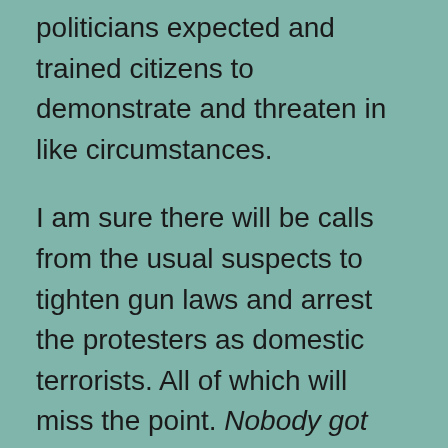Politicians expected and trained citizens to demonstrate and threaten in like circumstances.
I am sure there will be calls from the usual suspects to tighten gun laws and arrest the protesters as domestic terrorists. All of which will miss the point. Nobody got shot – this was the last attempt, within the norms of the Constitutional system as designed, to avoid violence.
If the Michigan state government responds to this demonstration with repression or violence, citizens will have the right – indeed, they will